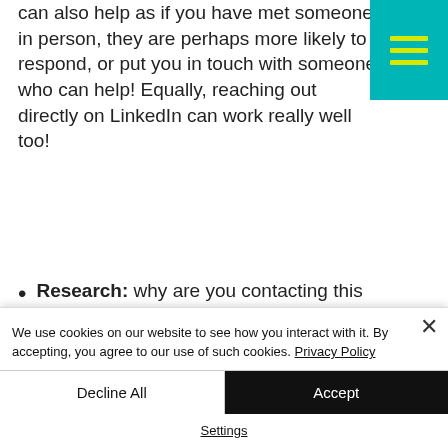can also help as if you have met someone in person, they are perhaps more likely to respond, or put you in touch with someone who can help! Equally, reaching out directly on LinkedIn can work really well too!
Research: why are you contacting this particular individual? What do you want to ask or find out more about?
We use cookies on our website to see how you interact with it. By accepting, you agree to our use of such cookies. Privacy Policy
Decline All
Accept
Settings